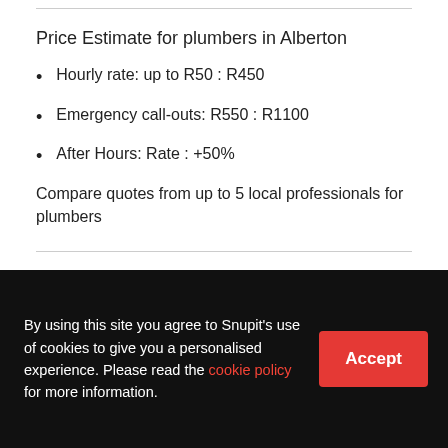Price Estimate for plumbers in Alberton
Hourly rate: up to R50 : R450
Emergency call-outs: R550 : R1100
After Hours: Rate : +50%
Compare quotes from up to 5 local professionals for plumbers
Get things done with Snupit
Free price estimates today from 5355 local experts in
By using this site you agree to Snupit's use of cookies to give you a personalised experience. Please read the cookie policy for more information.